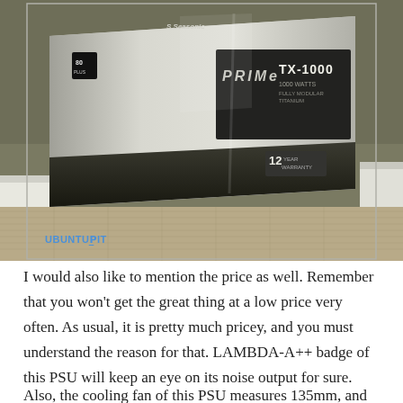[Figure (photo): Photo of a Seasonic Prime TX-1000 1000 Watts power supply unit box, still in plastic wrap, sitting on carpet against a wall. The box is silver/dark colored with 'PRIME TX-1000' branding and '12 YEAR WARRANTY' badge. UbuntuPit watermark in blue at bottom left.]
I would also like to mention the price as well. Remember that you won't get the great thing at a low price very often. As usual, it is pretty much pricey, and you must understand the reason for that. LAMBDA-A++ badge of this PSU will keep an eye on its noise output for sure.
Also, the cooling fan of this PSU measures 135mm, and